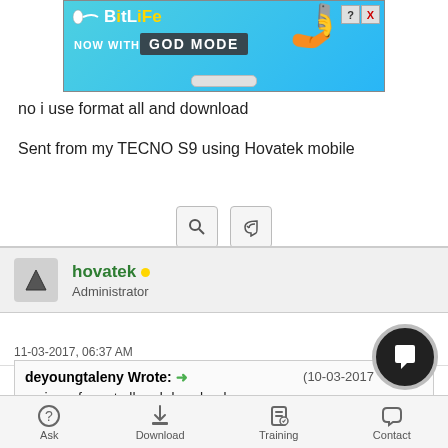[Figure (screenshot): BitLife ad banner: blue background with BitLife logo, 'NOW WITH GOD MODE' text, cartoon hand, close button]
no i use format all and download
Sent from my TECNO S9 using Hovatek mobile
[Figure (screenshot): Action icons row: magnifying glass (search) and reply icons]
hovatek • Administrator
11-03-2017, 06:37 AM  #6
deyoungtaleny Wrote: → (10-03-2017 PM)
no i use format all and download
[Figure (screenshot): Chat/message floating action button (dark circle with chat icon)]
Ask  Download  Training  Contact